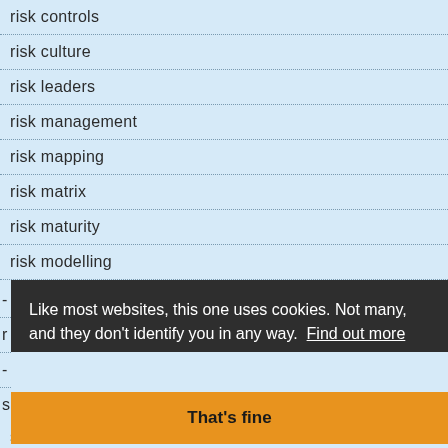risk controls
risk culture
risk leaders
risk management
risk mapping
risk matrix
risk maturity
risk modelling
risk perception
risk predictions
Like most websites, this one uses cookies. Not many, and they don't identify you in any way.  Find out more
That's fine
sociates coududurians